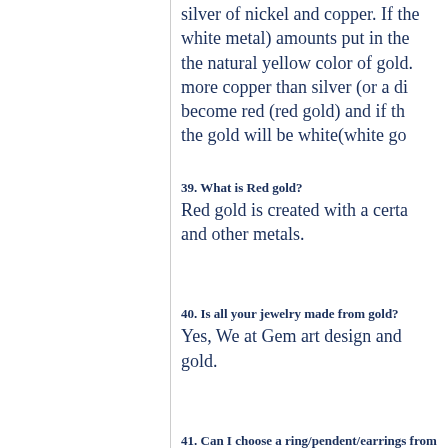silver of nickel and copper. If the white metal) amounts put in the the natural yellow color of gold. more copper than silver (or a di become red (red gold) and if th the gold will be white(white go
39. What is Red gold?
Red gold is created with a certa and other metals.
40. Is all your jewelry made from gold?
Yes, We at Gem art design and gold.
41. Can I choose a ring/pendent/earrings from
You are welcome to choose any